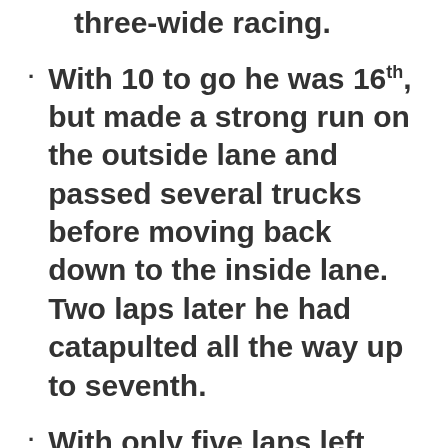three-wide racing.
With 10 to go he was 16th, but made a strong run on the outside lane and passed several trucks before moving back down to the inside lane. Two laps later he had catapulted all the way up to seventh.
With only five laps left the caution flag flew once again, setting up a green-